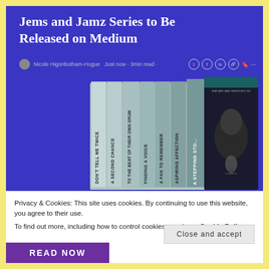Jems and Jamz Series to Be Released on Medium
Just now · 3min read ·
[Figure (photo): A set of book box set with multiple book spines visible: DON'T TELL ME TWICE, A SECOND CHANCE, TO THE BEAT OF THEIR OWN DRUM, FINDING A VOICE, A FAN TO REMEMBER, ASPIRING AFFECTION, A STEPPING STO... by Nicole Higonbotham-Hogue, with a dark cover showing a person's face near a microphone]
Privacy & Cookies: This site uses cookies. By continuing to use this website, you agree to their use.
To find out more, including how to control cookies, see here: Cookie Policy
Close and accept
READ NOW